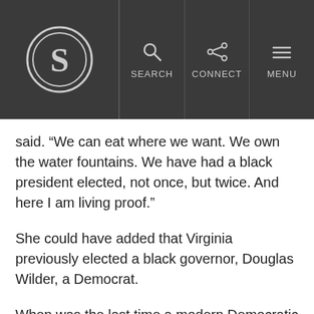Snopes logo header with SEARCH, CONNECT, MENU navigation
said. “We can eat where we want. We own the water fountains. We have had a black president elected, not once, but twice. And here I am living proof.”
She could have added that Virginia previously elected a black governor, Douglas Wilder, a Democrat.
When was the last time a modern Democratic politician talked like Winsome Sears? Here is a role model for everyone, not just minorities: an intact family; a sense of duty to and love of America; a strong work ethic; and a refusal to allow the dislike of others to keep one from pursuing the American dream.